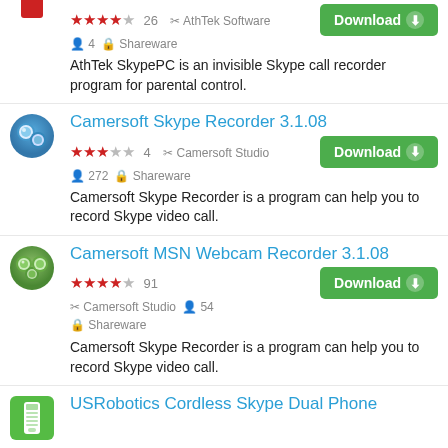AthTek SkypePC - 4/5 stars, 26 reviews, 4 users, Shareware, AthTek Software. AthTek SkypePC is an invisible Skype call recorder program for parental control.
Camersoft Skype Recorder 3.1.08 - 3/5 stars, 4 reviews, 272 users, Shareware, Camersoft Studio. Camersoft Skype Recorder is a program can help you to record Skype video call.
Camersoft MSN Webcam Recorder 3.1.08 - 4/5 stars, 91 reviews, Camersoft Studio, 54 users, Shareware. Camersoft Skype Recorder is a program can help you to record Skype video call.
USRobotics Cordless Skype Dual Phone